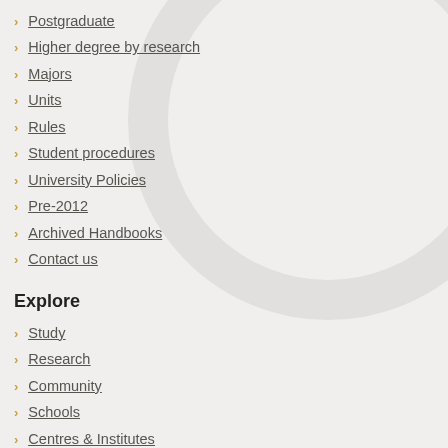Postgraduate
Higher degree by research
Majors
Units
Rules
Student procedures
University Policies
Pre-2012
Archived Handbooks
Contact us
Explore
Study
Research
Community
Schools
Centres & Institutes
Alumni
Shop